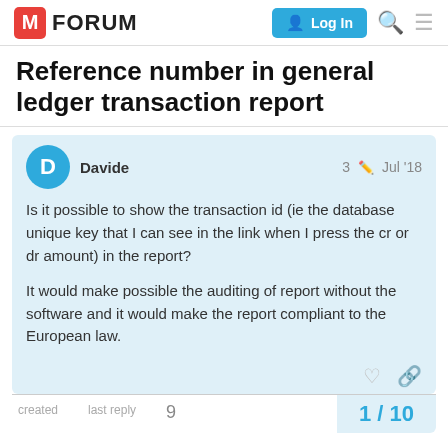M FORUM | Log In
Reference number in general ledger transaction report
Davide   3  Jul '18
Is it possible to show the transaction id (ie the database unique key that I can see in the link when I press the cr or dr amount) in the report?
It would make possible the auditing of report without the software and it would make the report compliant to the European law.
created   last reply   9   1 / 10